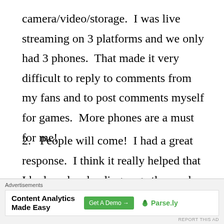camera/video/storage.  I was live streaming on 3 platforms and we only had 3 phones.  That made it very difficult to reply to comments from my fans and to post comments myself for games.  More phones are a must for me!
2.   People will come!  I had a great response.  I think it really helped that I had made a landing page the week before where people could sign up for an automated email reminder of the
[Figure (other): Advertisement banner: 'Content Analytics Made Easy' with a green 'Get A Demo →' button and Parse.ly logo]